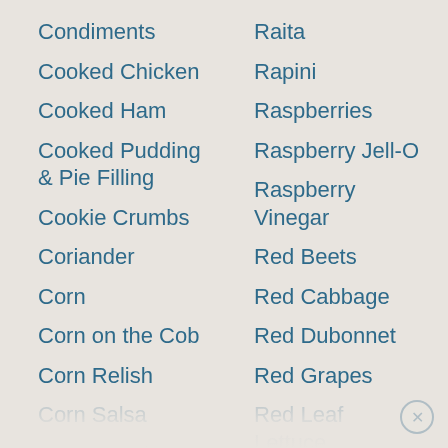Condiments
Cooked Chicken
Cooked Ham
Cooked Pudding & Pie Filling
Cookie Crumbs
Coriander
Corn
Corn on the Cob
Corn Relish
Corn Salsa
Corn Starch
Raita
Rapini
Raspberries
Raspberry Jell-O
Raspberry Vinegar
Red Beets
Red Cabbage
Red Dubonnet
Red Grapes
Red Leaf Lettuce